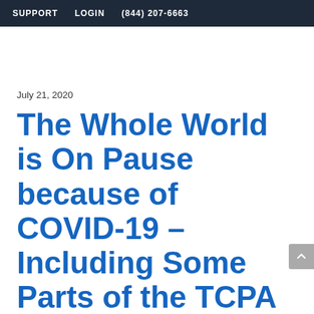SUPPORT   LOGIN   (844) 207-6663
July 21, 2020
The Whole World is On Pause because of COVID-19 – Including Some Parts of the TCPA